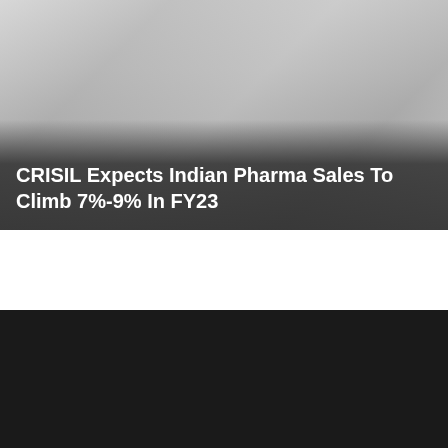[Figure (photo): Hero image with faded/grey background photo with dark gradient overlay at the bottom]
CRISIL Expects Indian Pharma Sales To Climb 7%-9% In FY23
[Figure (logo): Pharma Advancement logo with teal circular icon and orange PHARMA / teal ADVANCEMENT text on white background]
About Us